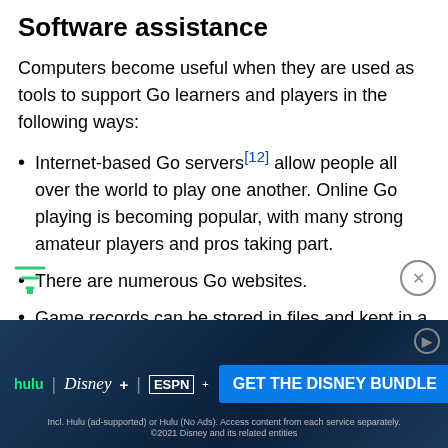Software assistance
Computers become useful when they are used as tools to support Go learners and players in the following ways:
Internet-based Go servers[12] allow people all over the world to play one another. Online Go playing is becoming popular, with many strong amateur players and pros taking part.
There are numerous Go websites.
Game records can be stored in files and kept in a database. One can then search the database for a particular opening strategy, or for games by a particular player. Electronic databases now provide a convenient, efficient way to study joseki, fuseki, life and death situations, and other problems. This dev... info... available.